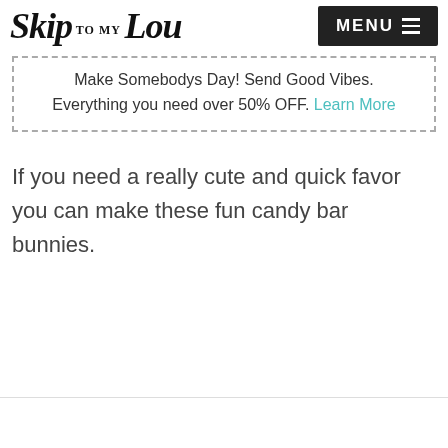Skip to my Lou | MENU
Make Somebodys Day! Send Good Vibes. Everything you need over 50% OFF. Learn More
If you need a really cute and quick favor you can make these fun candy bar bunnies.